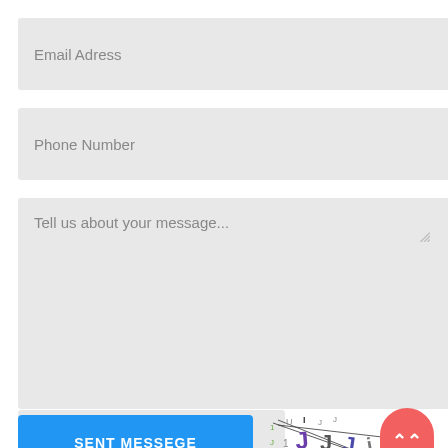Email Adress
Phone Number
Tell us about your message...
Verification Code
[Figure (other): CAPTCHA image showing distorted letters and numbers: 1 U I J J, J 1 J J J j9 L, with numbers scattered around]
SENT MESSEGE